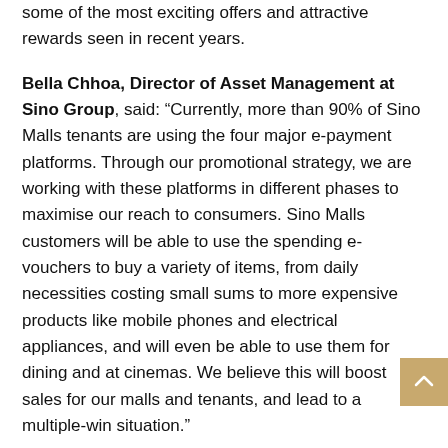some of the most exciting offers and attractive rewards seen in recent years.
Bella Chhoa, Director of Asset Management at Sino Group, said: “Currently, more than 90% of Sino Malls tenants are using the four major e-payment platforms. Through our promotional strategy, we are working with these platforms in different phases to maximise our reach to consumers. Sino Malls customers will be able to use the spending e-vouchers to buy a variety of items, from daily necessities costing small sums to more expensive products like mobile phones and electrical appliances, and will even be able to use them for dining and at cinemas. We believe this will boost sales for our malls and tenants, and lead to a multiple-win situation.”
Terms and conditions apply to the promotions. Please refer to the promotional materials and the Sino Group website for details. The promotions are subject to change without notice